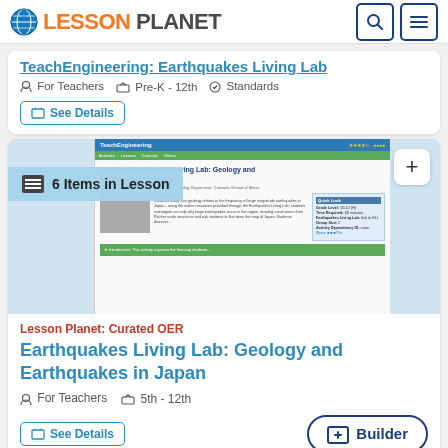Lesson Planet
TeachEngineering: Earthquakes Living Lab
For Teachers  Pre-K - 12th  Standards
See Details
[Figure (screenshot): Screenshot of TeachEngineering website showing Earthquakes Living Lab: Geology and Earthquakes in Japan activity page with summary text and sidebar details]
6 Items in Lesson
Lesson Planet: Curated OER
Earthquakes Living Lab: Geology and Earthquakes in Japan
For Teachers  5th - 12th
See Details
Builder